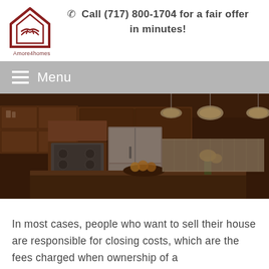[Figure (logo): Amore4homes logo with house/handshake icon in dark red]
☎ Call (717) 800-1704 for a fair offer in minutes!
≡  Menu
[Figure (photo): Warm-toned kitchen interior with wood cabinets, granite island, stainless steel appliances, pendant lights, and fruit/flower arrangement]
In most cases, people who want to sell their house are responsible for closing costs, which are the fees charged when ownership of a